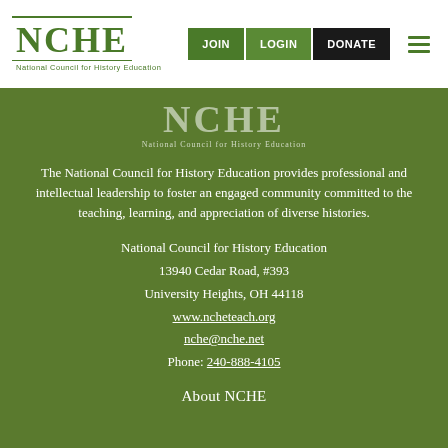[Figure (logo): NCHE logo with text 'National Council for History Education' in green]
JOIN  LOGIN  DONATE  [hamburger menu]
[Figure (logo): NCHE watermark logo in green section footer area]
The National Council for History Education provides professional and intellectual leadership to foster an engaged community committed to the teaching, learning, and appreciation of diverse histories.
National Council for History Education
13940 Cedar Road, #393
University Heights, OH 44118
www.ncheteach.org
nche@nche.net
Phone: 240-888-4105
About NCHE